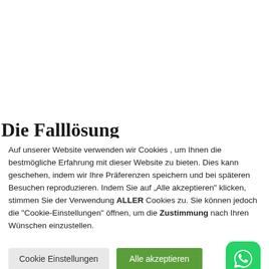Die Falllösung
Auf unserer Website verwenden wir Cookies , um Ihnen die bestmögliche Erfahrung mit dieser Website zu bieten. Dies kann geschehen, indem wir Ihre Präferenzen speichern und bei späteren Besuchen reproduzieren. Indem Sie auf „Alle akzeptieren" klicken, stimmen Sie der Verwendung ALLER Cookies zu. Sie können jedoch die "Cookie-Einstellungen" öffnen, um die Zustimmung nach Ihren Wünschen einzustellen.
Cookie Einstellungen
Alle akzeptieren